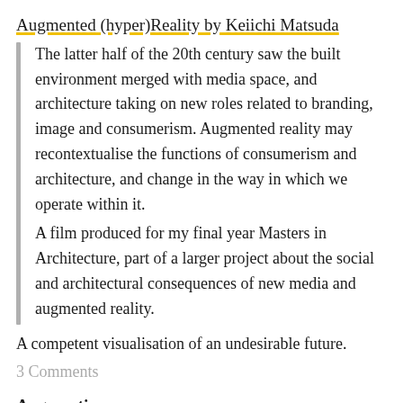Augmented (hyper)Reality by Keiichi Matsuda
The latter half of the 20th century saw the built environment merged with media space, and architecture taking on new roles related to branding, image and consumerism. Augmented reality may recontextualise the functions of consumerism and architecture, and change in the way in which we operate within it. A film produced for my final year Masters in Architecture, part of a larger project about the social and architectural consequences of new media and augmented reality.
A competent visualisation of an undesirable future.
3 Comments
Augmentia